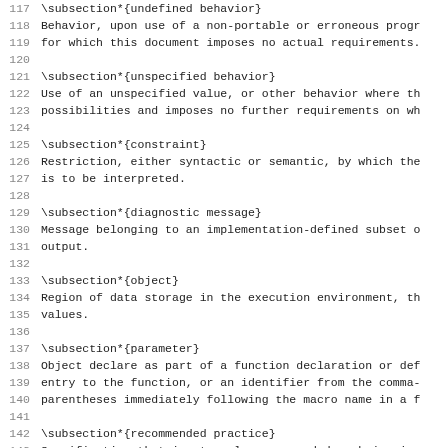117 \subsection*{undefined behavior}
118 Behavior, upon use of a non-portable or erroneous progr
119 for which this document imposes no actual requirements.
120
121 \subsection*{unspecified behavior}
122 Use of an unspecified value, or other behavior where th
123 possibilities and imposes no further requirements on wh
124
125 \subsection*{constraint}
126 Restriction, either syntactic or semantic, by which the
127 is to be interpreted.
128
129 \subsection*{diagnostic message}
130 Message belonging to an implementation-defined subset o
131 output.
132
133 \subsection*{object}
134 Region of data storage in the execution environment, th
135 values.
136
137 \subsection*{parameter}
138 Object declare as part of a function declaration or def
139 entry to the function, or an identifier from the comma-
140 parentheses immediately following the macro name in a f
141
142 \subsection*{recommended practice}
143 Specification that is strongly recommended as being in
144 document, but that may be impractical for some implemen
145
146 \subsection*{value}
147 Precise meaning of the contents of an object when inter
148
149 \subsection*{implementation-defined behavior}